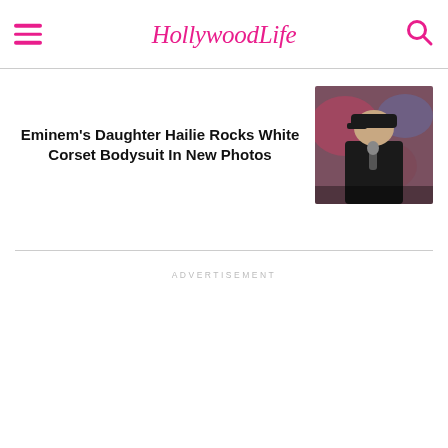HollywoodLife
Eminem's Daughter Hailie Rocks White Corset Bodysuit In New Photos
[Figure (photo): Photo of Eminem performing, wearing dark jacket and black cap, holding microphone, blurred red/blue bokeh background]
ADVERTISEMENT